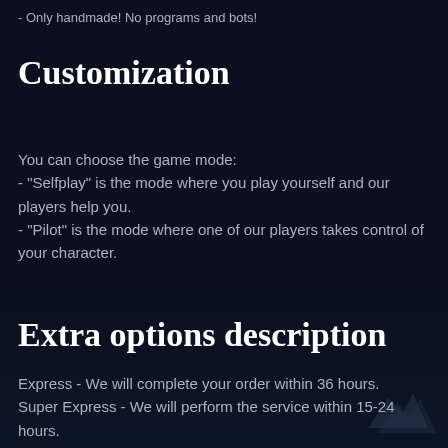- Only handmade! No programs and bots!
Customization
You can choose the game mode:
- "Selfplay" is the mode where you play yourself and our players help you.
- "Pilot" is the mode where one of our players takes control of your character.
Extra options description
Express - We will complete your order within 36 hours.
Super Express - We will perform the service within 15-24 hours.